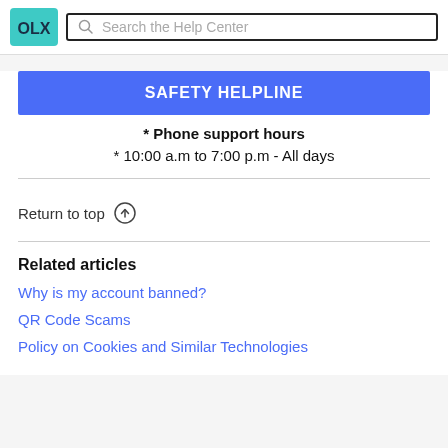OLX logo | Search the Help Center
SAFETY HELPLINE
* Phone support hours
* 10:00 a.m to 7:00 p.m - All days
Return to top ↑
Related articles
Why is my account banned?
QR Code Scams
Policy on Cookies and Similar Technologies